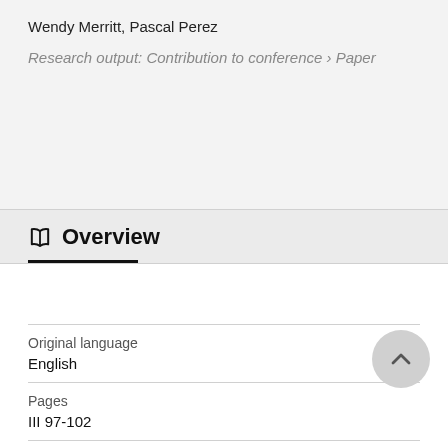Wendy Merritt, Pascal Perez
Research output: Contribution to conference › Paper
Overview
Original language
English
Pages
III 97-102
Publication status